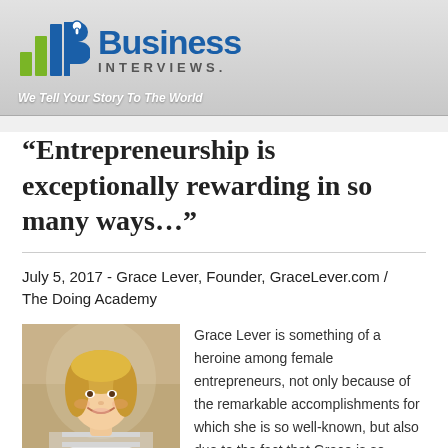[Figure (logo): Business Interviews logo with bar chart icon and microphone, tagline: We Tell Your Story To The World]
“Entrepreneurship is exceptionally rewarding in so many ways…”
July 5, 2017 - Grace Lever, Founder, GraceLever.com / The Doing Academy
[Figure (photo): Portrait photo of Grace Lever, a blonde woman smiling, wearing a striped top]
Grace Lever is something of a heroine among female entrepreneurs, not only because of the remarkable accomplishments for which she is so well-known, but also due to the fact that Grace is so intensely dedicated to supporting